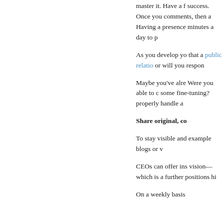master it. Have a f success. Once you comments, then a Having a presence minutes a day to p
As you develop yo that a public relations or will you respond
Maybe you've alre Were you able to c some fine-tuning? properly handle a
Share original, co
To stay visible and example blogs or v
CEOs can offer ins vision—which is a further positions hi
On a weekly basis